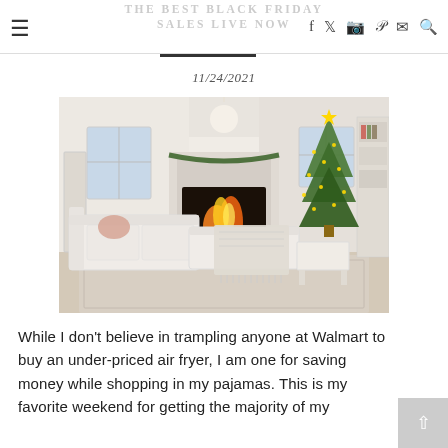THE BEST BLACK FRIDAY SALES LIVE NOW
11/24/2021
[Figure (photo): Bright white living room with a fireplace lit with fire, decorated with garland, a tall lit Christmas tree on the right, white sectional sofa with pillows and a knit blanket draped over it, white side table, and a patterned area rug.]
While I don't believe in trampling anyone at Walmart to buy an under-priced air fryer, I am one for saving money while shopping in my pajamas. This is my favorite weekend for getting the majority of my